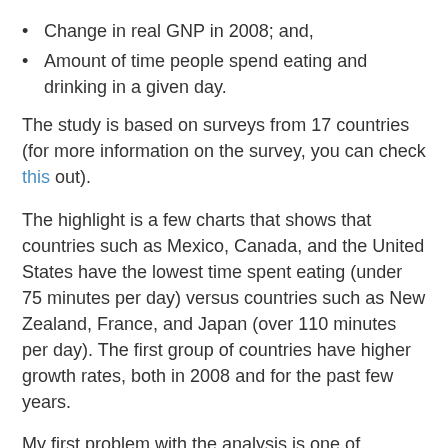Change in real GNP in 2008; and,
Amount of time people spend eating and drinking in a given day.
The study is based on surveys from 17 countries (for more information on the survey, you can check this out).
The highlight is a few charts that shows that countries such as Mexico, Canada, and the United States have the lowest time spent eating (under 75 minutes per day) versus countries such as New Zealand, France, and Japan (over 110 minutes per day). The first group of countries have higher growth rates, both in 2008 and for the past few years.
My first problem with the analysis is one of granularity. Leisure time is measured per person, but GNP is measured over everyone. One big component of GNP growth is population growth, and different countries have very different patterns of population growth. The correct measure would be per capital GNP. Taking this into account would dampen the GNP growth figures for growing countries such as Mexico and the United States, and increase the GNP growth figures for those countries with lower population growth.